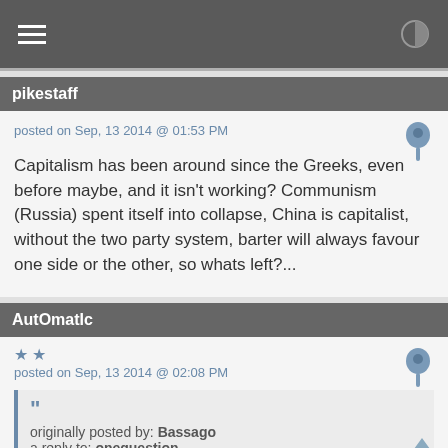Navigation bar with hamburger menu and contrast icon
pikestaff
posted on Sep, 13 2014 @ 01:53 PM
Capitalism has been around since the Greeks, even before maybe, and it isn't working? Communism (Russia) spent itself into collapse, China is capitalist, without the two party system, barter will always favour one side or the other, so whats left?...
AutOmatIc
posted on Sep, 13 2014 @ 02:08 PM
originally posted by: Bassago
a reply to: onequestion